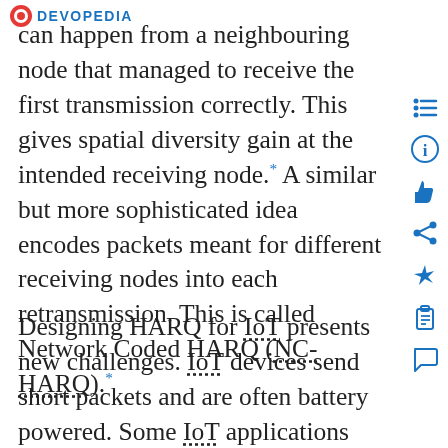DEVOPEDIA
can happen from a neighbouring node that managed to receive the first transmission correctly. This gives spatial diversity gain at the intended receiving node.* A similar but more sophisticated idea encodes packets meant for different receiving nodes into each retransmission. This is called Network Coded HARQ (NC-HARQ).*
Designing HARQ for IoT presents new challenges. IoT devices send short packets and are often battery powered. Some IoT applications require high reliability and low